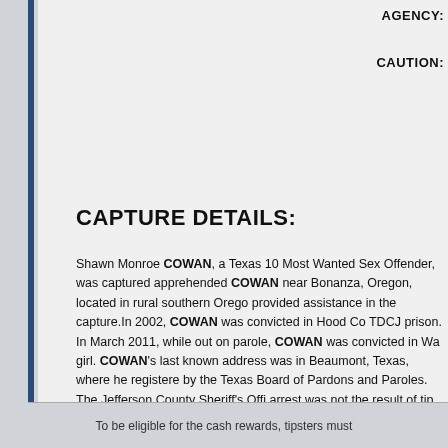AGENCY:
CAUTION:
CAPTURE DETAILS:
Shawn Monroe COWAN, a Texas 10 Most Wanted Sex Offender, was captured apprehended COWAN near Bonanza, Oregon, located in rural southern Oregon. provided assistance in the capture. In 2002, COWAN was convicted in Hood Co TDCJ prison. In March 2011, while out on parole, COWAN was convicted in Wa girl. COWAN's last known address was in Beaumont, Texas, where he registered by the Texas Board of Pardons and Paroles. The Jefferson County Sheriff's Offi arrest was not the result of tip information received through Texas Crime Stoppe
To be eligible for the cash rewards, tipsters must